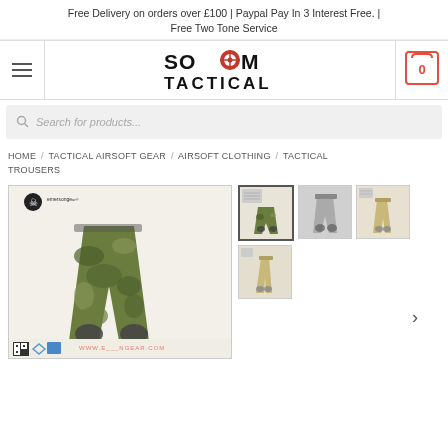Free Delivery on orders over £100 | Paypal Pay In 3 Interest Free. | Free Two Tone Service
[Figure (logo): SOCOM TACTICAL logo with red target/crosshair icon in the middle of the text]
[Figure (other): Shopping cart icon with 0 badge, red border]
Search for products...
HOME / TACTICAL AIRSOFT GEAR / AIRSOFT CLOTHING / TACTICAL TROUSERS
[Figure (photo): Main product image: camouflage tactical trousers with knee pads, emerson gear branding, QR code and icons at bottom]
[Figure (photo): Thumbnail 1: product image selected]
[Figure (photo): Thumbnail 2: grey/alternative product]
[Figure (photo): Thumbnail 3: tan/beige product]
[Figure (photo): Thumbnail 4: alternative view]